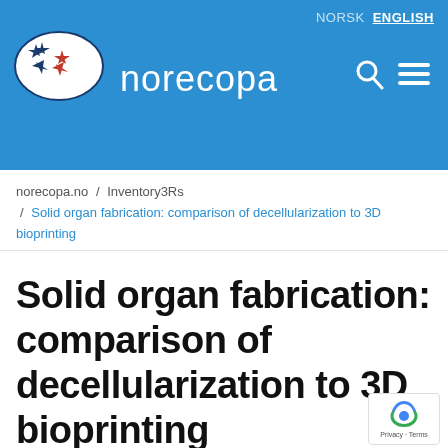[Figure (screenshot): Norecopa website header with logo (oval with blue and red stars), site name 'norecopa', language switcher (NORSK / ENGLISH), search icon, and hamburger menu icon on blue background.]
NORSK   ENGLISH
norecopa.no  /  Inventory3Rs  /  Solid organ fabrication: comparison of decellularization to 3D bioprinting
Solid organ fabrication: comparison of decellularization to 3D bioprinting